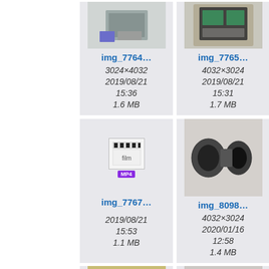[Figure (screenshot): File browser/gallery view showing image thumbnails with metadata. Row 1: img_7764 (3024×4032, 2019/08/21 15:36, 1.6 MB), img_7765 (4032×3024, 2019/08/21 15:31, 1.7 MB), and a partial third tile. Row 2: img_7767 MP4 file (2019/08/21 15:53, 1.1 MB), img_8098 (4032×3024, 2020/01/16 12:58, 1.4 MB), and a partial third tile. Row 3: Three partial tiles with thumbnails of electronic components.]